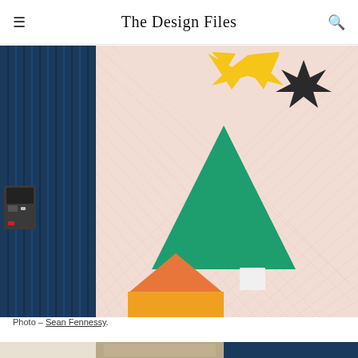The Design Files
[Figure (photo): A pink textured tile wall with colorful geometric cutout decorations: a yellow star/pennant shape at top center, a dark starburst shape at top right, a green Christmas tree triangle shape in the center with a small white rectangle base, and an orange/yellow house silhouette at bottom left. On the left side is a dark blue corrugated metal wall with an intercom panel.]
Photo – Sean Fennessy.
[Figure (photo): Partial view of an architectural space with blue metal framing, exposed concrete or stone walls, visible at the bottom of the page.]